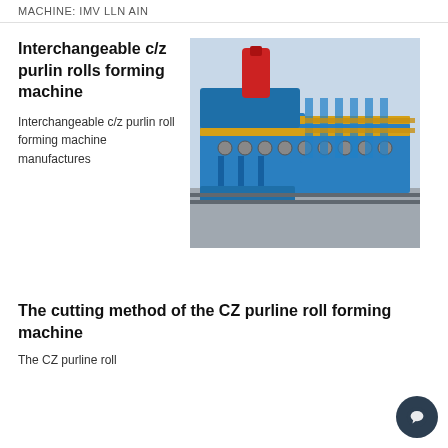MACHINE: IMV LLN AIN
Interchangeable c/z purlin rolls forming machine
Interchangeable c/z purlin roll forming machine manufactures
[Figure (photo): Photo of an interchangeable c/z purlin roll forming machine, predominantly blue colored industrial equipment with a red hydraulic cylinder on top, multiple roll stations visible in a row in an industrial workshop setting.]
The cutting method of the CZ purline roll forming machine
The CZ purline roll